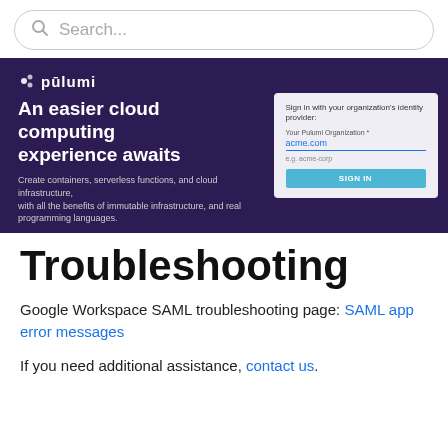[Figure (screenshot): Search bar with rounded border, magnifying glass icon, and placeholder text 'Search...']
[Figure (screenshot): Pulumi banner ad with dark purple background. Left side shows Pulumi logo, heading 'An easier cloud computing experience awaits', and description text about containers, serverless functions, and cloud infrastructure. Right side shows a sign-in card with fields for organization, pre-filled with 'acme.com', and a cyan SIGN IN button.]
Troubleshooting
Google Workspace SAML troubleshooting page: SAML app error messages
If you need additional assistance, contact us.